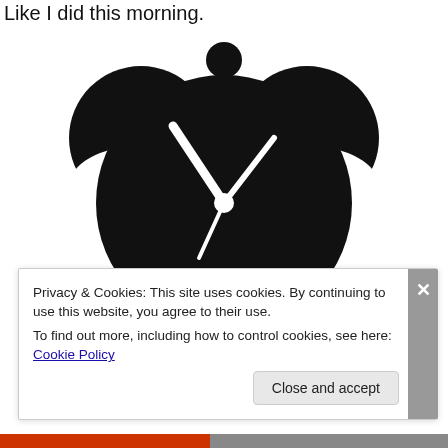Like I did this morning.
[Figure (illustration): Black alarm clock icon with two bells on top, a small round knob at the top center, and white clock hands pointing to approximately 10:10, on a white background.]
Privacy & Cookies: This site uses cookies. By continuing to use this website, you agree to their use.
To find out more, including how to control cookies, see here: Cookie Policy
Close and accept